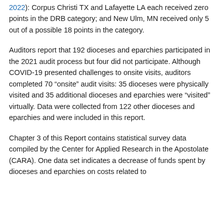2022): Corpus Christi TX and Lafayette LA each received zero points in the DRB category; and New Ulm, MN received only 5 out of a possible 18 points in the category.
Auditors report that 192 dioceses and eparchies participated in the 2021 audit process but four did not participate. Although COVID-19 presented challenges to onsite visits, auditors completed 70 “onsite” audit visits: 35 dioceses were physically visited and 35 additional dioceses and eparchies were “visited” virtually. Data were collected from 122 other dioceses and eparchies and were included in this report.
Chapter 3 of this Report contains statistical survey data compiled by the Center for Applied Research in the Apostolate (CARA). One data set indicates a decrease of funds spent by dioceses and eparchies on costs related to